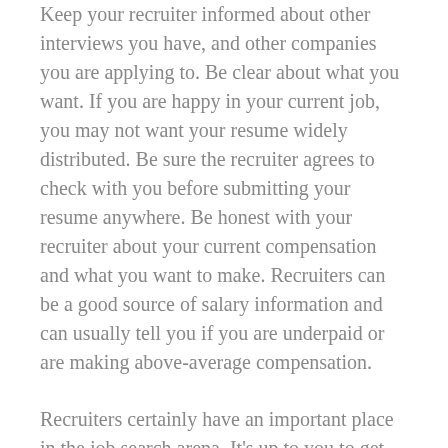Keep your recruiter informed about other interviews you have, and other companies you are applying to. Be clear about what you want. If you are happy in your current job, you may not want your resume widely distributed. Be sure the recruiter agrees to check with you before submitting your resume anywhere. Be honest with your recruiter about your current compensation and what you want to make. Recruiters can be a good source of salary information and can usually tell you if you are underpaid or are making above-average compensation.
Recruiters certainly have an important place in the job search arena. It's up to you to get savvy about how to use a recruiter to your advantage.
[photo source: www.theladders.com]